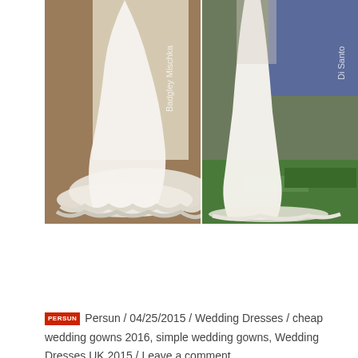[Figure (photo): Two side-by-side photos of women in white wedding gowns with long lace-trimmed trains. Left image labeled 'Badgley Mischka', right image labeled 'Di Santo'. Both show the back/side view of the dresses.]
PERSUN  Persun / 04/25/2015 / Wedding Dresses / cheap wedding gowns 2016, simple wedding gowns, Wedding Dresses UK 2015 / Leave a comment